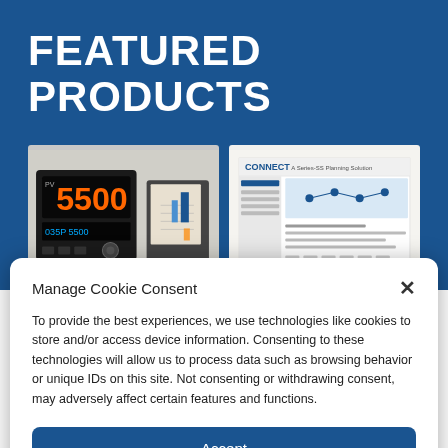FEATURED PRODUCTS
[Figure (photo): Two industrial process controllers/recorders: a digital controller showing '5500' display and a chart recorder, plus a software interface screenshot labeled 'CONNECT']
Manage Cookie Consent
To provide the best experiences, we use technologies like cookies to store and/or access device information. Consenting to these technologies will allow us to process data such as browsing behavior or unique IDs on this site. Not consenting or withdrawing consent, may adversely affect certain features and functions.
Accept